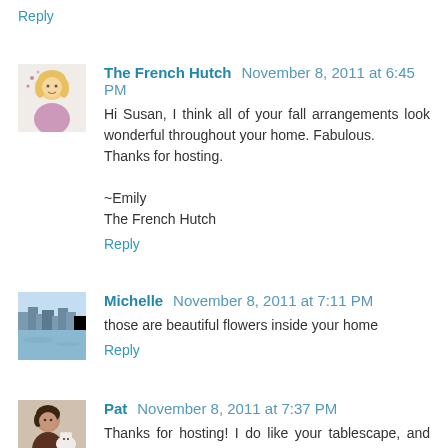Reply
The French Hutch November 8, 2011 at 6:45 PM
Hi Susan, I think all of your fall arrangements look wonderful throughout your home. Fabulous.
Thanks for hosting.

~Emily
The French Hutch
Reply
Michelle November 8, 2011 at 7:11 PM
those are beautiful flowers inside your home
Reply
Pat November 8, 2011 at 7:37 PM
Thanks for hosting! I do like your tablescape, and the floral